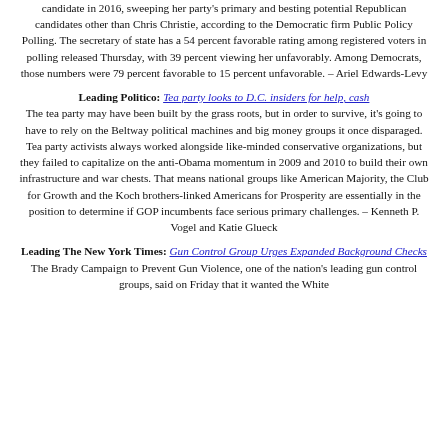candidate in 2016, sweeping her party's primary and besting potential Republican candidates other than Chris Christie, according to the Democratic firm Public Policy Polling. The secretary of state has a 54 percent favorable rating among registered voters in polling released Thursday, with 39 percent viewing her unfavorably. Among Democrats, those numbers were 79 percent favorable to 15 percent unfavorable. – Ariel Edwards-Levy
Leading Politico: Tea party looks to D.C. insiders for help, cash — The tea party may have been built by the grass roots, but in order to survive, it's going to have to rely on the Beltway political machines and big money groups it once disparaged. Tea party activists always worked alongside like-minded conservative organizations, but they failed to capitalize on the anti-Obama momentum in 2009 and 2010 to build their own infrastructure and war chests. That means national groups like American Majority, the Club for Growth and the Koch brothers-linked Americans for Prosperity are essentially in the position to determine if GOP incumbents face serious primary challenges. – Kenneth P. Vogel and Katie Glueck
Leading The New York Times: Gun Control Group Urges Expanded Background Checks — The Brady Campaign to Prevent Gun Violence, one of the nation's leading gun control groups, said on Friday that it wanted the White